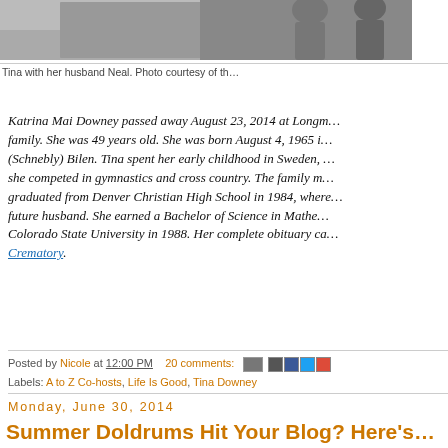[Figure (photo): Photo of Tina with her husband Neal, partially visible at top of page]
Tina with her husband Neal. Photo courtesy of th...
Katrina Mai Downey passed away August 23, 2014 at Longm... family. She was 49 years old. She was born August 4, 1965 i... (Schnebly) Bilen. Tina spent her early childhood in Sweden, ... she competed in gymnastics and cross country. The family m... graduated from Denver Christian High School in 1984, where... future husband. She earned a Bachelor of Science in Mathe... Colorado State University in 1988. Her complete obituary ca... Crematory.
Posted by Nicole at 12:00 PM   20 comments:
Labels: A to Z Co-hosts, Life Is Good, Tina Downey
Monday, June 30, 2014
Summer Doldrums Hit Your Blog? Here's...